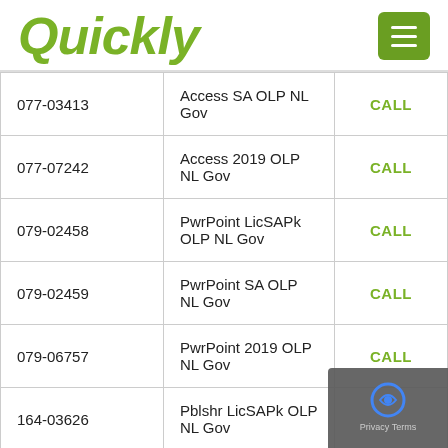Quickly
| Code | Product | Action |
| --- | --- | --- |
| 077-03413 | Access SA OLP NL Gov | CALL |
| 077-07242 | Access 2019 OLP NL Gov | CALL |
| 079-02458 | PwrPoint LicSAPk OLP NL Gov | CALL |
| 079-02459 | PwrPoint SA OLP NL Gov | CALL |
| 079-06757 | PwrPoint 2019 OLP NL Gov | CALL |
| 164-03626 | Pblshr LicSAPk OLP NL Gov | CALL |
| 164-03627 | Pblshr SA OLP NL Gov | CALL |